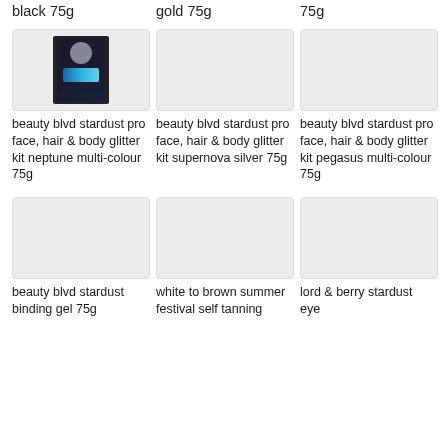black 75g
gold 75g
75g
[Figure (photo): beauty blvd stardust pro face, hair & body glitter kit product package - dark packaging with glitter]
beauty blvd stardust pro face, hair & body glitter kit neptune multi-colour 75g
[Figure (photo): beauty blvd stardust pro face, hair & body glitter kit product - empty/placeholder]
beauty blvd stardust pro face, hair & body glitter kit supernova silver 75g
[Figure (photo): beauty blvd stardust pro face, hair & body glitter kit product - empty/placeholder]
beauty blvd stardust pro face, hair & body glitter kit pegasus multi-colour 75g
[Figure (photo): beauty blvd stardust binding product - empty/placeholder]
beauty blvd stardust binding gel 75g
[Figure (photo): white to brown summer festival self tanning product - empty/placeholder]
white to brown summer festival self tanning
[Figure (photo): lord & berry stardust eye product - empty/placeholder]
lord & berry stardust eye